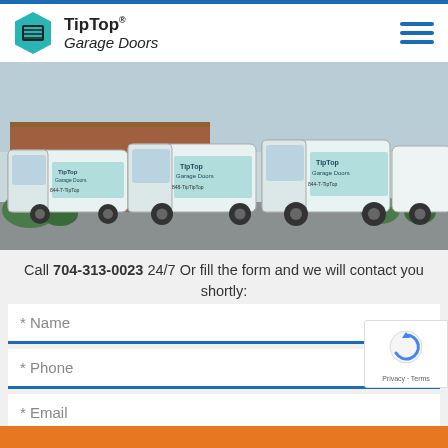[Figure (logo): TipTop Garage Doors logo with teal hexagon containing a garage door icon, and company name text]
[Figure (photo): Fleet of TipTop Garage Doors service vans with branded wraps parked in a lot]
Call 704-313-0023 24/7 Or fill the form and we will contact you shortly:
* Name
* Phone
* Email